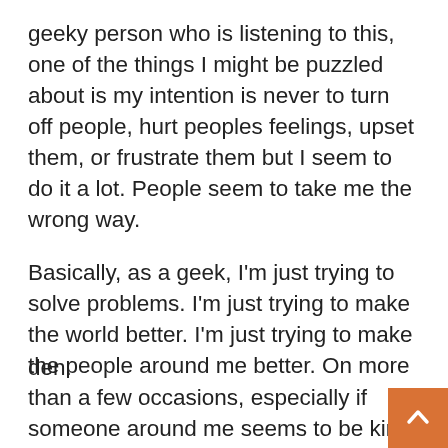geeky person who is listening to this, one of the things I might be puzzled about is my intention is never to turn off people, hurt peoples feelings, upset them, or frustrate them but I seem to do it a lot. People seem to take me the wrong way.
Basically, as a geek, I'm just trying to solve problems. I'm just trying to make the world better. I'm just trying to make the people around me better. On more than a few occasions, especially if someone around me seems to be kind of emotionally upset, boy, would I try to solve them in a geek way? There's a good chance I'm going to be sleeping in the den.